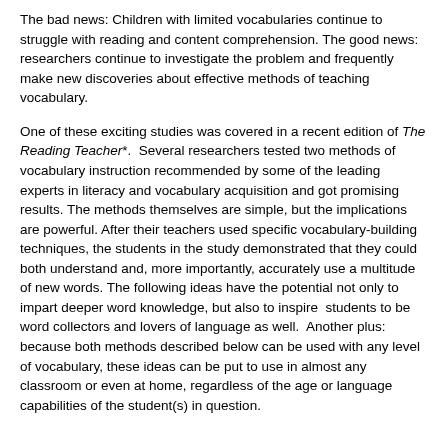The bad news: Children with limited vocabularies continue to struggle with reading and content comprehension. The good news: researchers continue to investigate the problem and frequently make new discoveries about effective methods of teaching vocabulary.
One of these exciting studies was covered in a recent edition of The Reading Teacher*. Several researchers tested two methods of vocabulary instruction recommended by some of the leading experts in literacy and vocabulary acquisition and got promising results. The methods themselves are simple, but the implications are powerful. After their teachers used specific vocabulary-building techniques, the students in the study demonstrated that they could both understand and, more importantly, accurately use a multitude of new words. The following ideas have the potential not only to impart deeper word knowledge, but also to inspire  students to be word collectors and lovers of language as well.  Another plus: because both methods described below can be used with any level of vocabulary, these ideas can be put to use in almost any classroom or even at home, regardless of the age or language capabilities of the student(s) in question.